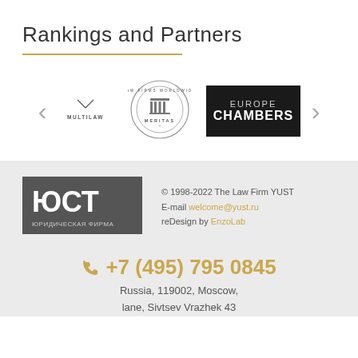Rankings and Partners
[Figure (logo): Carousel with partner logos: MULTILAW, MERITAS Law Firms Worldwide, Chambers Europe. Navigation arrows on left and right.]
[Figure (logo): YUST law firm logo - ЮСТ ЮРИДИЧЕСКАЯ ФИРМА]
© 1998-2022 The Law Firm YUST
E-mail welcome@yust.ru
reDesign by EnzoLab
+7 (495) 795 0845
Russia, 119002, Moscow,
lane, Sivtsev Vrazhek 43